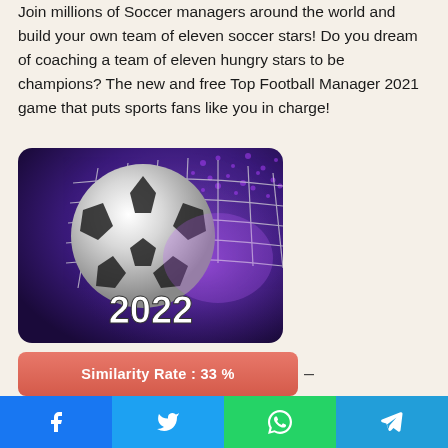Join millions of Soccer managers around the world and build your own team of eleven soccer stars! Do you dream of coaching a team of eleven hungry stars to be champions? The new and free Top Football Manager 2021 game that puts sports fans like you in charge!
[Figure (illustration): Soccer ball caught in a net with purple/dark background and the year 2022 displayed in large white text at the bottom]
Similarity Rate : 33 %
–
Similar Apps
Facebook  Twitter  WhatsApp  Telegram